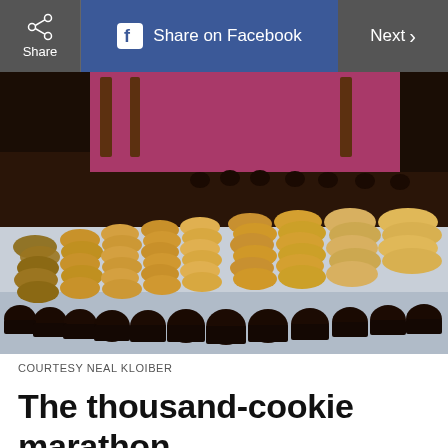Share | Share on Facebook | Next >
[Figure (photo): Long table covered with a white tablecloth displaying hundreds of baked goods arranged in diagonal rows: various cookies, pastries, and chocolate cupcakes/muffins with a pink backdrop and wooden chairs in the background.]
COURTESY NEAL KLOIBER
The thousand-cookie marathon